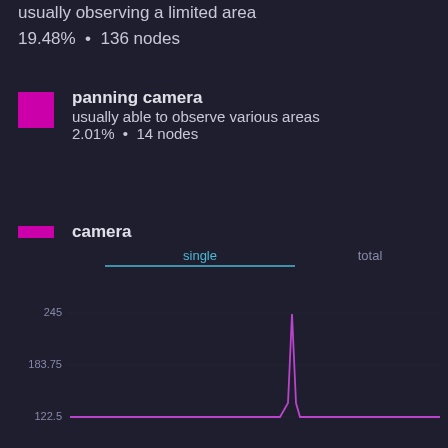usually observing a limited area
19.48%  •  136 nodes
panning camera
usually able to observe various areas
2.01%  •  14 nodes
camera
no further information
1.72%  •  12 nodes
[Figure (line-chart): Line chart with 'single' and 'total' tabs. Y-axis shows values 122.5, 183.75, 245. A sharp spike visible around center-right of chart reaching near 245.]